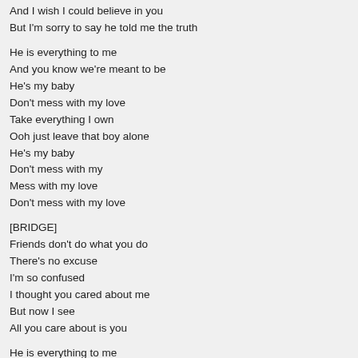And I wish I could believe in you
But I'm sorry to say he told me the truth
He is everything to me
And you know we're meant to be
He's my baby
Don't mess with my love
Take everything I own
Ooh just leave that boy alone
He's my baby
Don't mess with my
Mess with my love
Don't mess with my love
[BRIDGE]
Friends don't do what you do
There's no excuse
I'm so confused
I thought you cared about me
But now I see
All you care about is you
He is everything to me
And you know we're meant to be